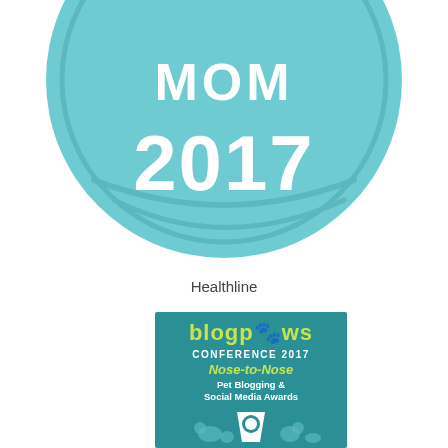[Figure (illustration): Partial teal/light blue circular badge showing 'MOM' and '2017' in large white bold text, with decorative curved lines inside the circle. The top of the badge is cropped.]
Healthline
[Figure (illustration): BlogPaws Conference 2017 Nose-to-Nose Pet Blogging & Social Media Awards badge. Dark teal background with 'blogpaws' in yellow-green and white text, 'CONFERENCE 2017' in white, 'Nose-to-Nose' in yellow-green italic, 'Pet Blogging & Social Media Awards' in white. Below is a white trophy/award shape with a paw print, surrounded by silhouettes of animals including a dog, rabbit, cat, bird.]